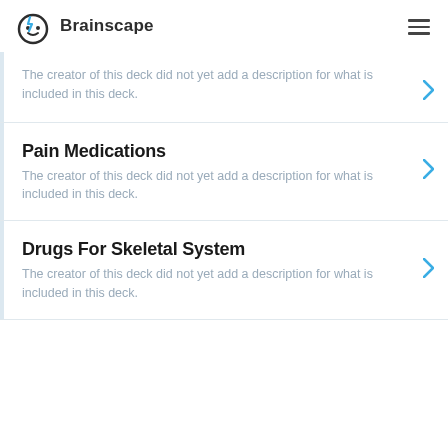Brainscape
The creator of this deck did not yet add a description for what is included in this deck.
Pain Medications
The creator of this deck did not yet add a description for what is included in this deck.
Drugs For Skeletal System
The creator of this deck did not yet add a description for what is included in this deck.